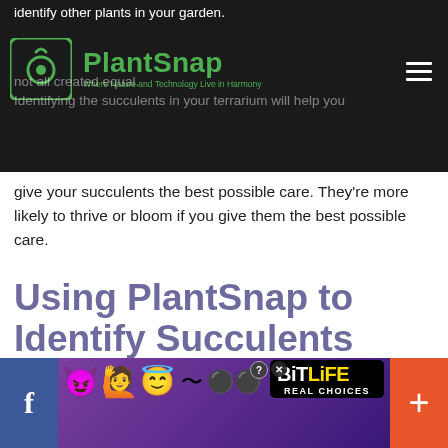identify other plants in your garden.
[Figure (logo): PlantSnap logo with green icon and text 'Where Nature and Technology Live in Harmony']
not all created equal. Identifying the succulents in your terrarium will help you
give your succulents the best possible care. They're more likely to thrive or bloom if you give them the best possible care.
Using PlantSnap to Identify Succulents
While there are plenty of succulent identification guides out there, you might want to just get an answer with an app.
[Figure (infographic): BitLife advertisement banner at the bottom with emoji characters, BitLife Real Choices logo, Facebook share button on left, and plus button on right]